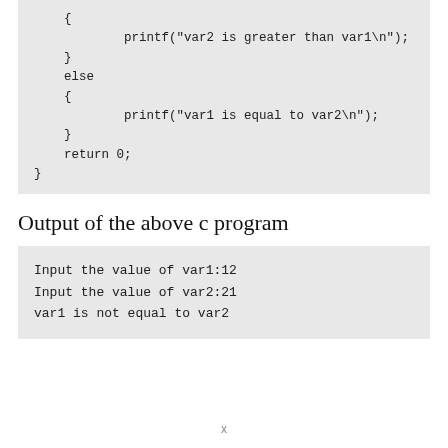{
            printf("var2 is greater than var1\n");
    }
    else
    {
            printf("var1 is equal to var2\n");
    }
    return 0;
}
Output of the above c program
Input the value of var1:12
Input the value of var2:21
var1 is not equal to var2
x